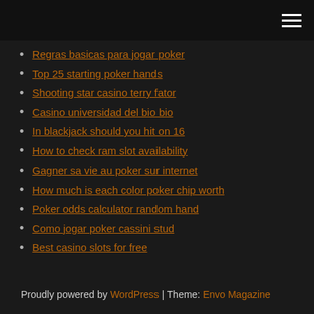[navigation header bar with hamburger menu]
Regras basicas para jogar poker
Top 25 starting poker hands
Shooting star casino terry fator
Casino universidad del bio bio
In blackjack should you hit on 16
How to check ram slot availability
Gagner sa vie au poker sur internet
How much is each color poker chip worth
Poker odds calculator random hand
Como jogar poker cassini stud
Best casino slots for free
Proudly powered by WordPress | Theme: Envo Magazine